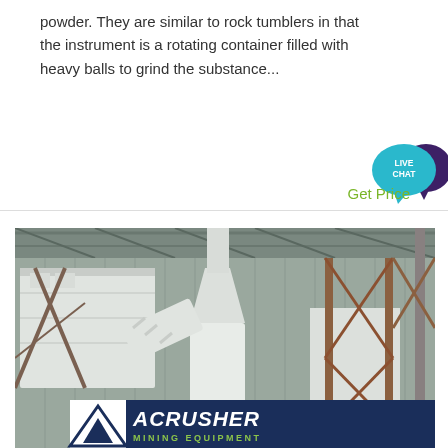powder. They are similar to rock tumblers in that the instrument is a rotating container filled with heavy balls to grind the substance...
[Figure (other): Live Chat button widget - teal speech bubble with 'LIVE CHAT' text and dark purple decorative bubble]
Get Price
[Figure (photo): Industrial mining/grinding mill equipment inside a factory building with large white machinery, conveyor pipes, metal scaffolding and support structures. ACRUSHER MINING EQUIPMENT logo visible at bottom.]